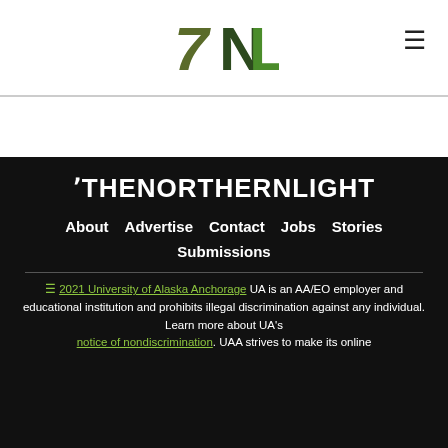TNL logo and hamburger menu
[Figure (logo): The Northern Light TNL logo in green/dark colors, top center of page]
THENORTHERNLIGHT
About
Advertise
Contact
Jobs
Stories
Submissions
2021 University of Alaska Anchorage UA is an AA/EO employer and educational institution and prohibits illegal discrimination against any individual. Learn more about UA's notice of nondiscrimination. UAA strives to make its online